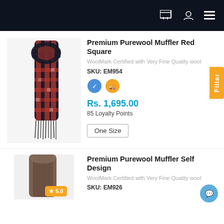Navigation bar with cart, user, and menu icons
[Figure (photo): Red plaid wool muffler/scarf with fringe ends]
Premium Purewool Muffler Red Square
WoolMark Certified with Very Fine Quality wool
SKU: EM954
[Figure (logo): Two circular badges/icons - blue WoolMark and orange delivery badge]
Rs. 1,695.00
85 Loyalty Points
One Size
[Figure (photo): Brown/grey self design wool muffler, partially visible]
Premium Purewool Muffler Self Design
WoolMark Certified with Very Fine Quality wool
SKU: EM926